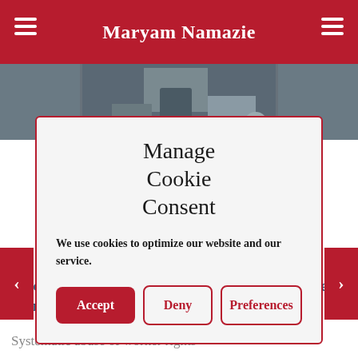Maryam Namazie
[Figure (photo): Photo strip showing people at a protest or event]
Manage Cookie Consent
We use cookies to optimize our website and our service.
Accept | Deny | Preferences
Soroush, Free Them Now! Campaign to Free Jailed Workers in Iran
Systematic abuse of worker rights